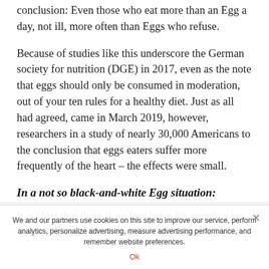conclusion: Even those who eat more than an Egg a day, not ill, more often than Eggs who refuse.
Because of studies like this underscore the German society for nutrition (DGE) in 2017, even as the note that eggs should only be consumed in moderation, out of your ten rules for a healthy diet. Just as all had agreed, came in March 2019, however, researchers in a study of nearly 30,000 Americans to the conclusion that eggs eaters suffer more frequently of the heart – the effects were small.
In a not so black-and-white Egg situation:
It is clear that there is no free letter for people who already have elevated cholesterol and therefore an